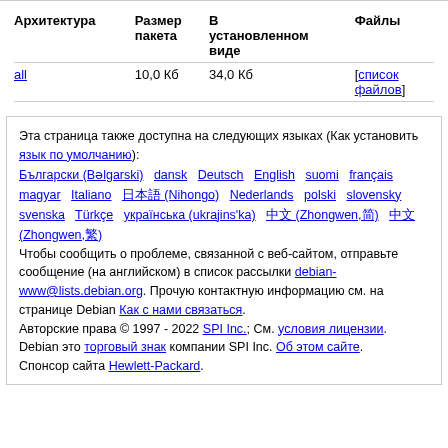| Архитектура | Размер пакета | В установленном виде | Файлы |
| --- | --- | --- | --- |
| all | 10,0 Кб | 34,0 Кб | [список файлов] |
Эта страница также доступна на следующих языках (Как установить язык по умолчанию):
Български (Bəlgarski) dansk Deutsch English suomi français magyar Italiano 日本語 (Nihongo) Nederlands polski slovensky svenska Türkçe українська (ukrajins'ka) 中文 (Zhongwen,简) 中文 (Zhongwen,繁)
Чтобы сообщить о проблеме, связанной с веб-сайтом, отправьте сообщение (на английском) в список рассылки debian-www@lists.debian.org. Прочую контактную информацию см. на странице Debian Как с нами связаться.
Авторские права © 1997 - 2022 SPI Inc.; См. условия лицензии. Debian это торговый знак компании SPI Inc. Об этом сайте.
Спонсор сайта Hewlett-Packard.